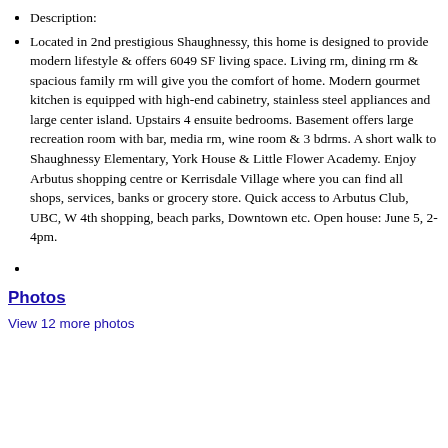Description:
Located in 2nd prestigious Shaughnessy, this home is designed to provide modern lifestyle & offers 6049 SF living space. Living rm, dining rm & spacious family rm will give you the comfort of home. Modern gourmet kitchen is equipped with high-end cabinetry, stainless steel appliances and large center island. Upstairs 4 ensuite bedrooms. Basement offers large recreation room with bar, media rm, wine room & 3 bdrms. A short walk to Shaughnessy Elementary, York House & Little Flower Academy. Enjoy Arbutus shopping centre or Kerrisdale Village where you can find all shops, services, banks or grocery store. Quick access to Arbutus Club, UBC, W 4th shopping, beach parks, Downtown etc. Open house: June 5, 2-4pm.
Photos
View 12 more photos